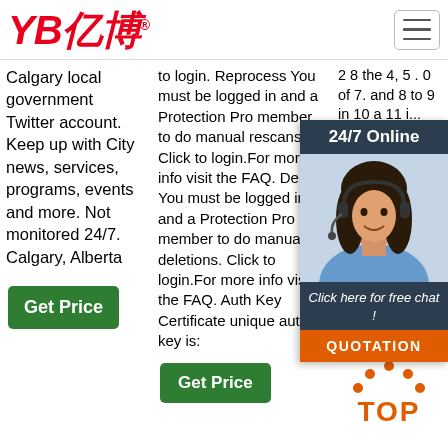[Figure (logo): YB亿博 logo in red italic bold text with registered trademark symbol]
[Figure (other): Hamburger menu icon button top right]
Calgary local government Twitter account. Keep up with City news, services, programs, events and more. Not monitored 24/7. Calgary, Alberta
[Figure (other): Green Get Price button in column 1]
to login. Reprocess You must be logged in and a Protection Pro member to do manual rescans. Click to login.For more info visit the FAQ. Delete You must be logged in and a Protection Pro member to do manual deletions. Click to login.For more info visit the FAQ. Auth Key Certificate unique auth key is:
[Figure (other): Green Get Price button in column 2]
2 8 the 4, 5 . 0 of 7. and 8 to 9 in 10 a 11 i... 14 d [...]
[Figure (other): 24/7 Online chat widget with woman wearing headset, Click here for free chat!, QUOTATION button]
[Figure (other): TOP icon in orange/red with dots above]